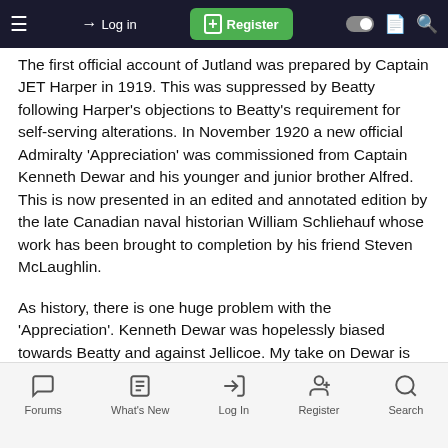Log in | Register (navigation bar)
The first official account of Jutland was prepared by Captain JET Harper in 1919. This was suppressed by Beatty following Harper's objections to Beatty's requirement for self-serving alterations. In November 1920 a new official Admiralty 'Appreciation' was commissioned from Captain Kenneth Dewar and his younger and junior brother Alfred. This is now presented in an edited and annotated edition by the late Canadian naval historian William Schliehauf whose work has been brought to completion by his friend Steven McLaughlin.
As history, there is one huge problem with the 'Appreciation'. Kenneth Dewar was hopelessly biased towards Beatty and against Jellicoe. My take on Dewar is that he was probably one of those brainy people who know that they are right and everyone else is wrong, and get increasingly tired of waiting for the wooden wheels to clunk round in other people's heads.
Unfortunately, the 'Appreciation' is not written on the best...
Forums | What's New | Log In | Register | Search